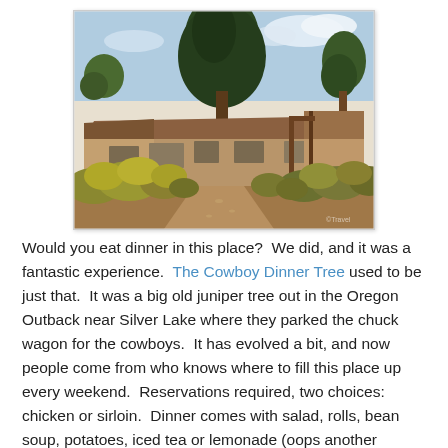[Figure (photo): Exterior photo of a rustic low-profile building with a large juniper tree behind it, desert shrubs and bushes in the foreground, blue sky with clouds, gravel path leading to entrance. Photo has a slight white border/frame.]
Would you eat dinner in this place?  We did, and it was a fantastic experience.  The Cowboy Dinner Tree used to be just that.  It was a big old juniper tree out in the Oregon Outback near Silver Lake where they parked the chuck wagon for the cowboys.  It has evolved a bit, and now people come from who knows where to fill this place up every weekend.  Reservations required, two choices: chicken or sirloin.  Dinner comes with salad, rolls, bean soup, potatoes, iced tea or lemonade (oops another choice) and dessert.